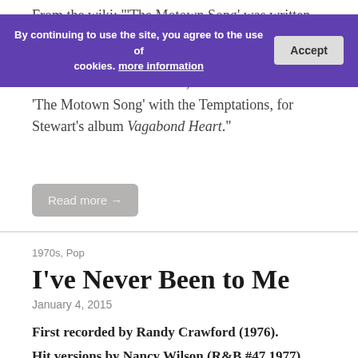From the wiki: "'The Motown Song' was written by Larry John McNally and was originally recorded by McNally in 1986 for the Quicksilver movie soundtrack. In 1991, Rod Stewart covered 'The Motown Song' with the Temptations, for Stewart's album Vagabond Heart."
[Figure (screenshot): Cookie consent banner with purple background. Text reads: 'By continuing to use the site, you agree to the use of cookies. more information' with an Accept button on the right.]
Read more →
1970s, Pop
I've Never Been to Me
January 4, 2015
First recorded by Randy Crawford (1976). Hit versions by Nancy Wilson (R&B #47 1977), Mary